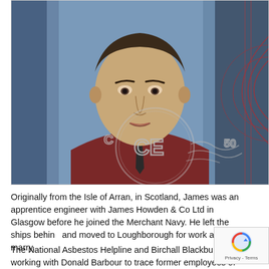[Figure (photo): Passport-style photograph of a middle-aged man wearing a dark jacket and tie, with a white shirt. An official embossed seal/stamp is visible over the photo, partially obscuring the lower portion of the image. The background shows a blue curtain. A red security pattern is visible on the right edge of the photo.]
Originally from the Isle of Arran, in Scotland, James was an apprentice engineer with James Howden & Co Ltd in Glasgow before he joined the Merchant Navy. He left the ships behind and moved to Loughborough for work and to marry.
The National Asbestos Helpline and Birchall Blackburn Law working with Donald Barbour to trace former employees of Bruch...